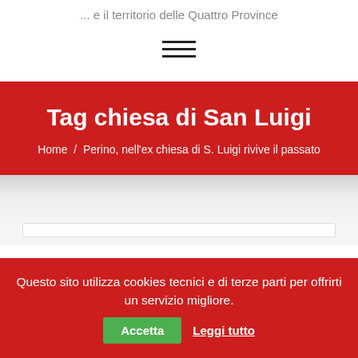... e il territorio delle Quattro Province
[Figure (other): Hamburger menu icon — three horizontal lines]
Tag chiesa di San Luigi
Home / Perino, nell'ex chiesa di S. Luigi rivive il passato
Questo sito utilizza cookies tecnici e di terze parti per offrirti un servizio migliore.
Accetta
Leggi tutto